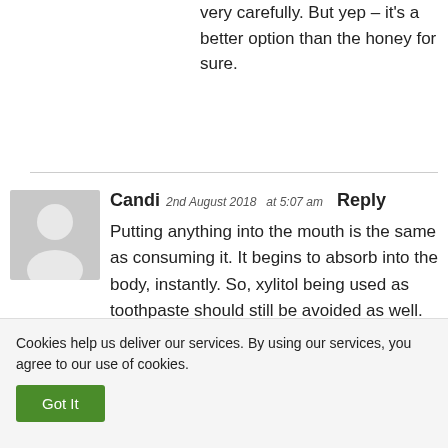very carefully. But yep – it's a better option than the honey for sure.
Candi   2nd August 2018   at 5:07 am   Reply
Putting anything into the mouth is the same as consuming it. It begins to absorb into the body, instantly. So, xylitol being used as toothpaste should still be avoided as well.
Cookies help us deliver our services. By using our services, you agree to our use of cookies.